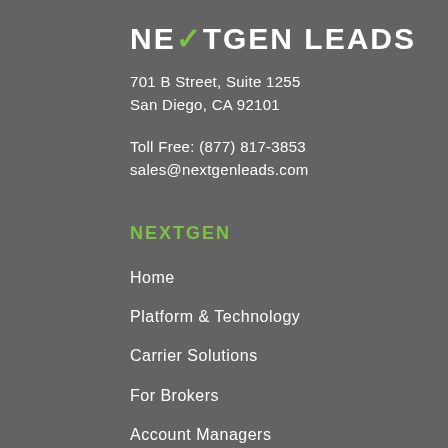NEXTGEN LEADS
701 B Street, Suite 1255
San Diego, CA 92101
Toll Free: (877) 817-3853
sales@nextgenleads.com
NEXTGEN
Home
Platform & Technology
Carrier Solutions
For Brokers
Account Managers
Login